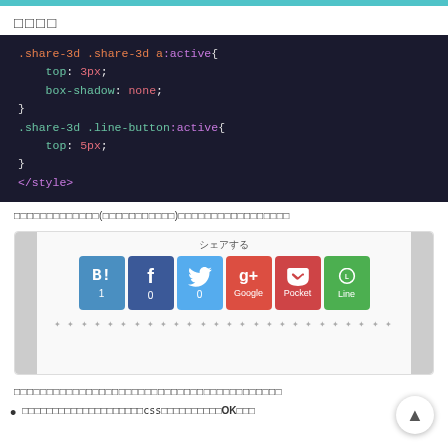□□□□
[Figure (screenshot): Dark-themed code editor showing CSS snippet: .share-3d .share-3d a:active{ top: 3px; box-shadow: none; } .share-3d .line-button:active{ top: 5px; } </style>]
□□□□□□□□□□□□□(□□□□□□□□□□□)□□□□□□□□□□□□□□□□□
[Figure (screenshot): Share buttons widget showing: シェアする label, then B!(1), Facebook(0), Twitter(0), Google+, Pocket, Line buttons, with decorative star divider below]
□□□□□□□□□□□□□□□□□□□□□□□□□□□□□□□□□□□□□□□□□
□□□□□□□□□□□□□□□□□□□□css□□□□□□□□□□OK□□□